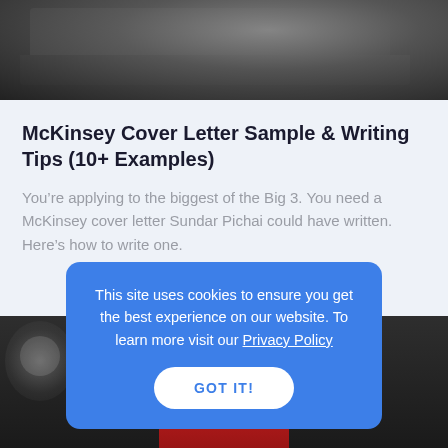[Figure (photo): Person sitting with a laptop computer, partial view from above]
McKinsey Cover Letter Sample & Writing Tips (10+ Examples)
You’re applying to the biggest of the Big 3. You need a McKinsey cover letter Sundar Pichai could have written. Here’s how to write one.
[Figure (photo): Person in a red jacket in a blurred indoor background]
This site uses cookies to ensure you get the best experience on our website. To learn more visit our Privacy Policy
GOT IT!